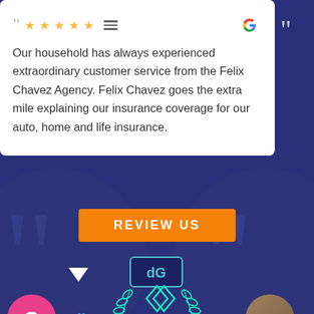[Figure (screenshot): Google review card showing a 5-star review with hamburger menu icon and Google G logo in top right. Review text reads: 'Our household has always experienced extraordinary customer service from the Felix Chavez Agency. Felix Chavez goes the extra mile explaining our insurance coverage for our auto, home and life insurance.']
Our household has always experienced extraordinary customer service from the Felix Chavez Agency. Felix Chavez goes the extra mile explaining our insurance coverage for our auto, home and life insurance.
Gil Duarte
REVIEW US
[Figure (logo): DG logo in teal/dark blue box]
[Figure (illustration): Teal diamond/infinity connector icon and laurel branch icons at bottom]